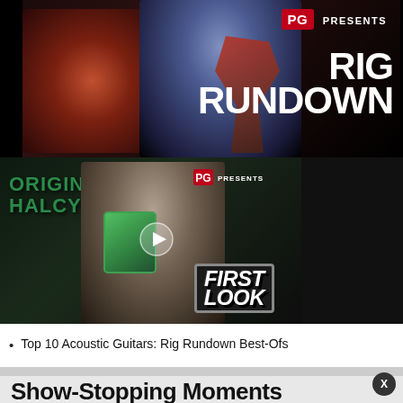[Figure (screenshot): Composite of two video thumbnails: Top half shows 'PG Presents Rig Rundown' with two guitarists on stage, text RIG RUNDOWN in large white letters on right side. Bottom half shows 'PG Presents First Look' with a man holding a green guitar pedal, text ORIGIN HALCYON on left, FIRST LOOK badge lower right, play button in center.]
Top 10 Acoustic Guitars: Rig Rundown Best-Ofs
Show-Stopping Moments